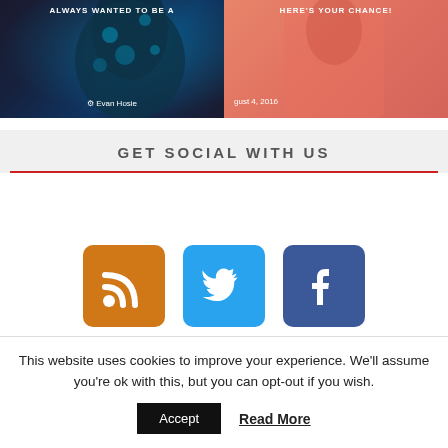[Figure (photo): Two fashion blog post thumbnails side by side. Left: dark floral dress with teal pattern and author 'Evan Hosie'. Right: coral/salmon colored dress with partial date text 'gust 4, 2016'.]
GET SOCIAL WITH US
[Figure (infographic): Three social media icon buttons in a row: RSS (orange), Twitter (blue bird), Facebook (dark blue with f logo)]
This website uses cookies to improve your experience. We'll assume you're ok with this, but you can opt-out if you wish.
Accept   Read More